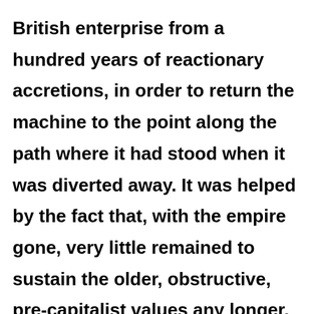British enterprise from a hundred years of reactionary accretions, in order to return the machine to the point along the path where it had stood when it was diverted away. It was helped by the fact that, with the empire gone, very little remained to sustain the older, obstructive, pre-capitalist values any longer, or to cushion Britain against the